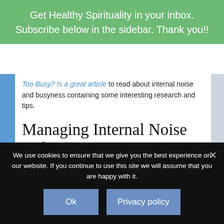Get Healthy Spirituality in your inbox. Subscribe below in the sidebar. Thank you!!
Too Busy? Is a great article to read about internal noise and busyness containing some interesting research and tips.
Managing Internal Noise and Busyness
Last January I wrote a blog post about creating a sacred space within us. I think the tips then still
We use cookies to ensure that we give you the best experience on our website. If you continue to use this site we will assume that you are happy with it.